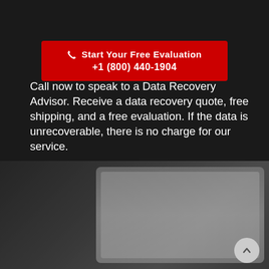[Figure (other): Red CTA button with phone icon reading 'Start Your Free Evaluation +1 (800) 440-1904' on dark background]
Call now to speak to a Data Recovery Advisor. Receive a data recovery quote, free shipping, and a free evaluation. If the data is unrecoverable, there is no charge for our service.
[Figure (logo): DriveSavers Data Recovery logo — life preserver ring with DRIVE SAVERS text and DATA RECOVERY text]